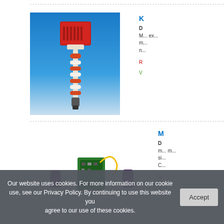[Figure (photo): Industrial sensor/detector device - red box unit mounted on a segmented pole/rod, gradient blue background]
K
D
M... ex... m... n...
R
V
[Figure (photo): Electronic components/modules on a surface - purple components and a green circuit board with yellow cable]
M
D
m... m... si... C...
R
V
Our website uses cookies. For more information on our cookie use, see our Privacy Policy. By continuing to use this website you agree to our use of these cookies.